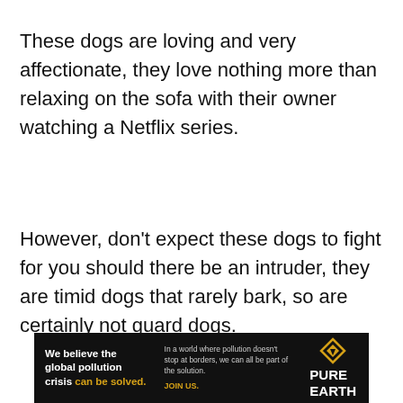These dogs are loving and very affectionate, they love nothing more than relaxing on the sofa with their owner watching a Netflix series.
However, don't expect these dogs to fight for you should there be an intruder, they are timid dogs that rarely bark, so are certainly not guard dogs.
[Figure (other): Advertisement banner for Pure Earth: 'We believe the global pollution crisis can be solved. In a world where pollution doesn't stop at borders, we can all be part of the solution. JOIN US.' with Pure Earth logo.]